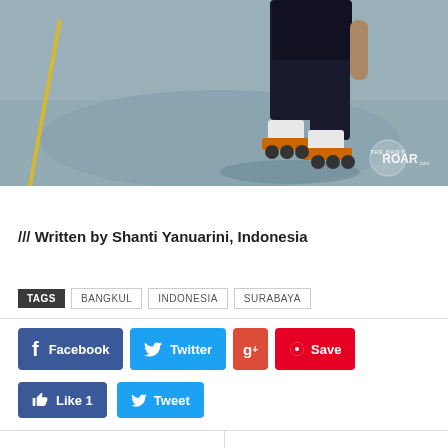[Figure (photo): Photo of a person rollerblading/skating on a concrete surface, wearing dark clothing and white inline skates. The Daily Roar watermark visible at bottom right.]
/// Written by Shanti Yanuarini, Indonesia
TAGS  BANGKUL  INDONESIA  SURABAYA
[Figure (infographic): Social media sharing buttons: Facebook, Twitter, Google+, Save (Pinterest), Like 1, Tweet]